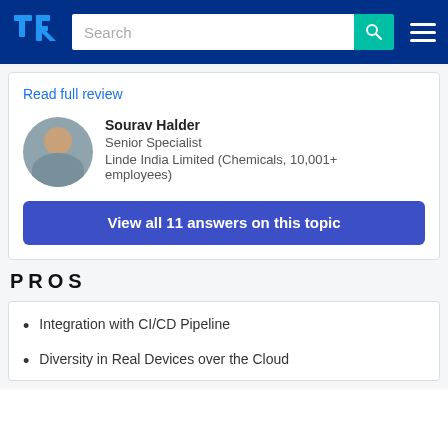TrustRadius - Search bar and navigation menu
Read full review
Sourav Halder
Senior Specialist
Linde India Limited (Chemicals, 10,001+ employees)
View all 11 answers on this topic
PROS
Integration with CI/CD Pipeline
Diversity in Real Devices over the Cloud